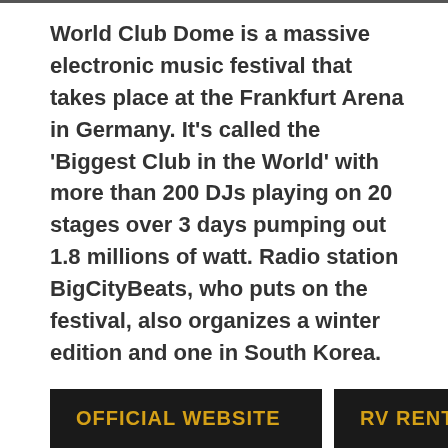World Club Dome is a massive electronic music festival that takes place at the Frankfurt Arena in Germany. It's called the 'Biggest Club in the World' with more than 200 DJs playing on 20 stages over 3 days pumping out 1.8 millions of watt. Radio station BigCityBeats, who puts on the festival, also organizes a winter edition and one in South Korea.
OFFICIAL WEBSITE
RV RENTALS